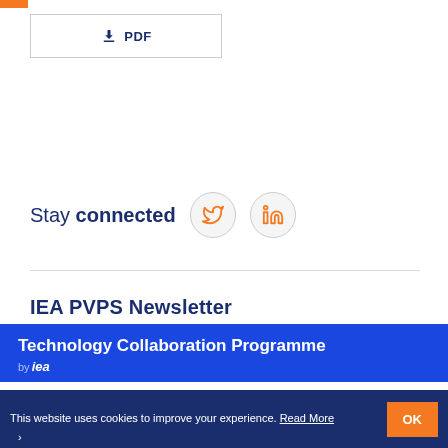[Figure (other): Orange top navigation bar accent]
[Figure (other): Download PDF button with download icon and border]
Stay connected
[Figure (other): Social media icons: Twitter and LinkedIn in circular borders]
IEA PVPS Newsletter
Technology Collaboration Programme by IEA
SUBSCRIBE →
This website uses cookies to improve your experience. Read More OK